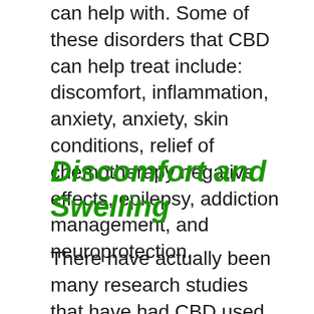can help with. Some of these disorders that CBD can help treat include: discomfort, inflammation, anxiety, anxiety, skin conditions, relief of chemotherapy negative effects, epilepsy, addiction management, and neuroprotection.
Discomfort and Swelling
There have actually been many research studies that have had CBD used to treat basic chronic discomfort. Scientist assembled the outcomes of several systematic evaluations covering lots of trials